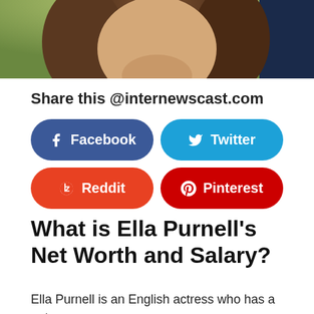[Figure (photo): Cropped photo of Ella Purnell, a young woman with brown wavy hair, top portion of face visible]
Share this @internewscast.com
[Figure (infographic): Social sharing buttons: Facebook (dark blue), Twitter (light blue), Reddit (orange-red), Pinterest (dark red)]
What is Ella Purnell's Net Worth and Salary?
Ella Purnell is an English actress who has a net